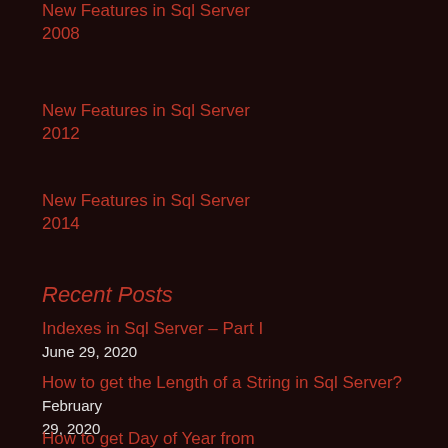New Features in Sql Server 2008
New Features in Sql Server 2012
New Features in Sql Server 2014
Recent Posts
Indexes in Sql Server – Part I June 29, 2020
How to get the Length of a String in Sql Server? February 29, 2020
How to get Day of Year from...